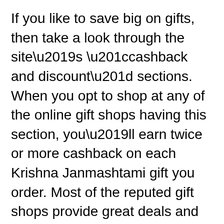If you like to save big on gifts, then take a look through the site's “cashback and discount” sections. When you opt to shop at any of the online gift shops having this section, you’ll earn twice or more cashback on each Krishna Janmashtami gift you order. Most of the reputed gift shops provide great deals and offers especially during the festive season. Explore now and get benefitted!
3. Become a VIP customer
If you have a favorite shopping portal, then make sure to sign up for the rewards programs provided by them. These types of reward programs are usually free as it is one of the best ways to attract customers. Not only will this help you save a lot of money